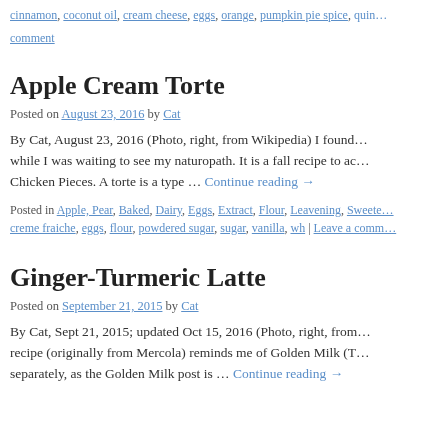cinnamon, coconut oil, cream cheese, eggs, orange, pumpkin pie spice, quin…
comment
Apple Cream Torte
Posted on August 23, 2016 by Cat
By Cat, August 23, 2016 (Photo, right, from Wikipedia) I found… while I was waiting to see my naturopath. It is a fall recipe to ac… Chicken Pieces. A torte is a type … Continue reading →
Posted in Apple, Pear, Baked, Dairy, Eggs, Extract, Flour, Leavening, Sweete… creme fraiche, eggs, flour, powdered sugar, sugar, vanilla, wh | Leave a comm…
Ginger-Turmeric Latte
Posted on September 21, 2015 by Cat
By Cat, Sept 21, 2015; updated Oct 15, 2016 (Photo, right, from… recipe (originally from Mercola) reminds me of Golden Milk (T… separately, as the Golden Milk post is … Continue reading →